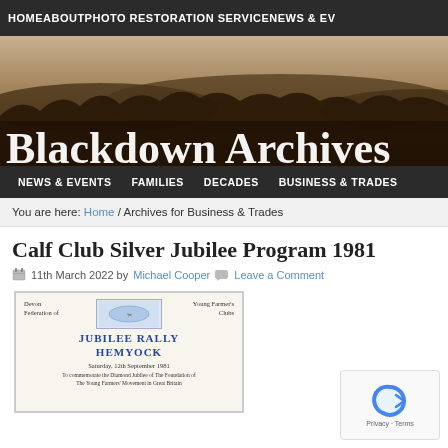HOME   ABOUT   PHOTO RESTORATION SERVICE   NEWS & EV
[Figure (photo): Blackdown Archives website banner with sepia landscape photo and large bold white serif title text 'Blackdown Archives']
NEWS & EVENTS   FAMILIES   DECADES   BUSINESS & TRADES
You are here: Home / Archives for Business & Trades
Calf Club Silver Jubilee Program 1981
11th March 2022 by Michael Cooper   Leave a Comment
[Figure (photo): Scanned document page showing Devon Federation of Young Farmer's Clubs, Jubilee Rally Hemyock, Saturday 12th September 1981, commemorating the Diamond Jubilee of The Foundation of The Young Farmers' Movement in Great Britain]